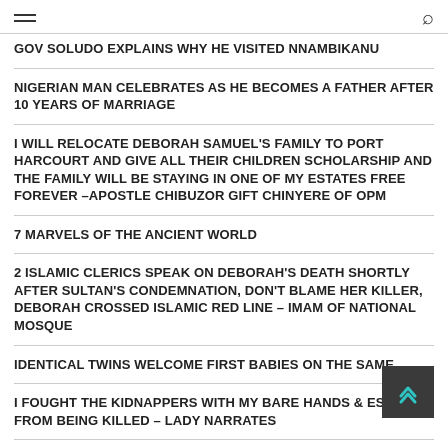[hamburger menu] [search icon]
GOV SOLUDO EXPLAINS WHY HE VISITED NNAMBIKANU
NIGERIAN MAN CELEBRATES AS HE BECOMES A FATHER AFTER 10 YEARS OF MARRIAGE
I WILL RELOCATE DEBORAH SAMUEL'S FAMILY TO PORT HARCOURT AND GIVE ALL THEIR CHILDREN SCHOLARSHIP AND THE FAMILY WILL BE STAYING IN ONE OF MY ESTATES FREE FOREVER –APOSTLE CHIBUZOR GIFT CHINYERE OF OPM
7 MARVELS OF THE ANCIENT WORLD
2 ISLAMIC CLERICS SPEAK ON DEBORAH'S DEATH SHORTLY AFTER SULTAN'S CONDEMNATION, DON'T BLAME HER KILLER, DEBORAH CROSSED ISLAMIC RED LINE – IMAM OF NATIONAL MOSQUE
IDENTICAL TWINS WELCOME FIRST BABIES ON THE SAME
I FOUGHT THE KIDNAPPERS WITH MY BARE HANDS & ESCAPED FROM BEING KILLED – LADY NARRATES